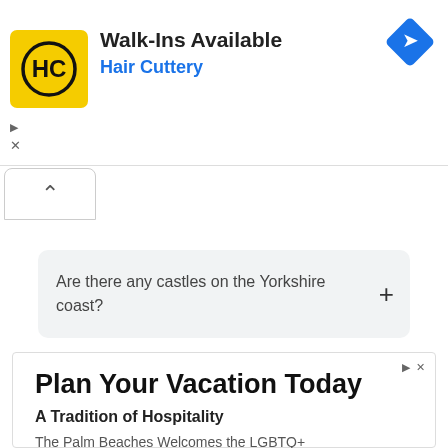[Figure (screenshot): Hair Cuttery advertisement banner with yellow HC logo, 'Walk-Ins Available' headline, blue navigation diamond icon, and ad disclosure indicators]
[Figure (screenshot): Collapsed/expandable tab button with upward caret chevron]
Are there any castles on the Yorkshire coast?
[Figure (screenshot): Second advertisement: 'Plan Your Vacation Today' with subheading 'A Tradition of Hospitality' and body text 'The Palm Beaches Welcomes the LGBTQ+']